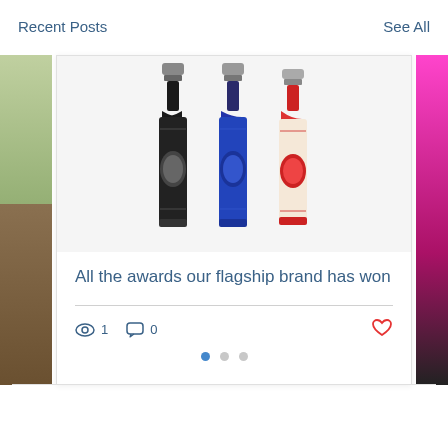Recent Posts
See All
[Figure (photo): A blog post card showing three decorative spirit bottles (black, blue, and red with intricate folk-art patterns) on a white background card. The central card is flanked by partial views of other cards.]
All the awards our flagship brand has won
1  0